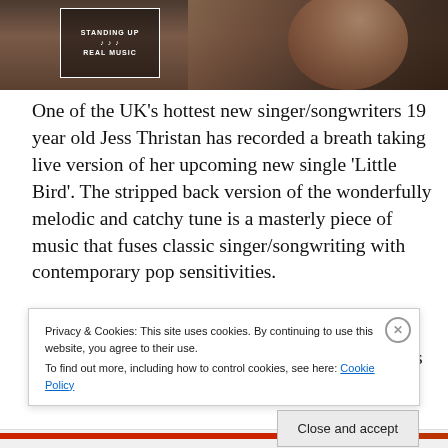[Figure (photo): Partial photo of a person with a logo overlay reading 'STANDING UP FOR REAL MUSIC']
One of the UK's hottest new singer/songwriters 19 year old Jess Thristan has recorded a breath taking live version of her upcoming new single 'Little Bird'. The stripped back version of the wonderfully melodic and catchy tune is a masterly piece of music that fuses classic singer/songwriting with contemporary pop sensitivities.
The new single, which is released October 20th, is a follow
Privacy & Cookies: This site uses cookies. By continuing to use this website, you agree to their use.
To find out more, including how to control cookies, see here: Cookie Policy